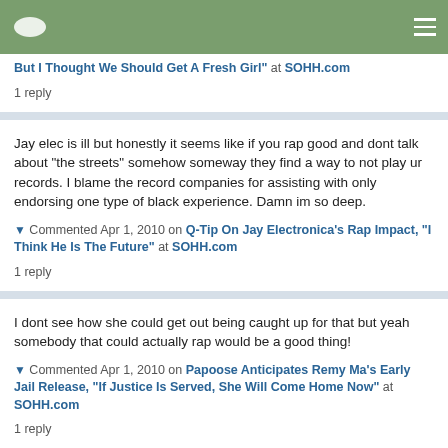Navigation bar with logo and menu
But I Thought We Should Get A Fresh Girl" at SOHH.com
1 reply
Jay elec is ill but honestly it seems like if you rap good and dont talk about "the streets" somehow someway they find a way to not play ur records. I blame the record companies for assisting with only endorsing one type of black experience. Damn im so deep.
Commented Apr 1, 2010 on Q-Tip On Jay Electronica's Rap Impact, "I Think He Is The Future" at SOHH.com
1 reply
I dont see how she could get out being caught up for that but yeah somebody that could actually rap would be a good thing!
Commented Apr 1, 2010 on Papoose Anticipates Remy Ma's Early Jail Release, "If Justice Is Served, She Will Come Home Now" at SOHH.com
1 reply